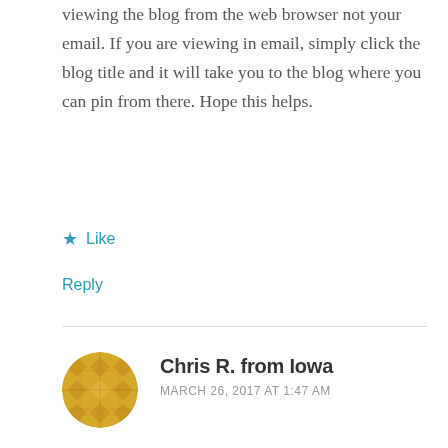viewing the blog from the web browser not your email. If you are viewing in email, simply click the blog title and it will take you to the blog where you can pin from there. Hope this helps.
★ Like
Reply
Chris R. from Iowa
MARCH 26, 2017 AT 1:47 AM
What a great card and great present with the blog post. Love that embossing folder as well as the colors. Jeanie, hope your daughter has a safe trip home. Have a fun time with Susan and have plenty of kleenex just in case you need them. Remember it's